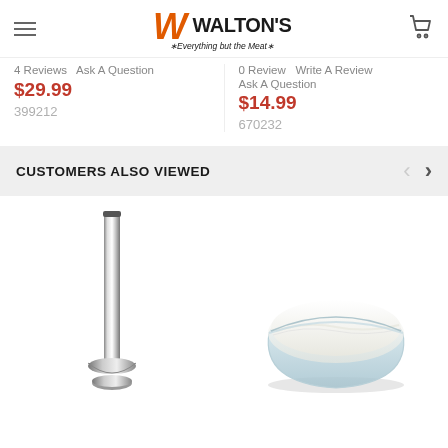Walton's - Everything but the Meat
4 Reviews   Ask A Question
$29.99
399212
0 Review   Write A Review
Ask A Question
$14.99
670232
CUSTOMERS ALSO VIEWED
[Figure (photo): A tall thin silver/chrome sausage stuffer tube with a flared base, shown vertically]
[Figure (photo): A clear glass bowl filled with white powder (likely a curing or seasoning ingredient), seen at a slight angle]